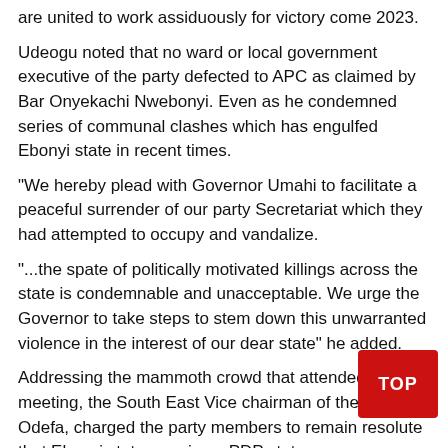are united to work assiduously for victory come 2023.
Udeogu noted that no ward or local government executive of the party defected to APC as claimed by Bar Onyekachi Nwebonyi. Even as he condemned series of communal clashes which has engulfed Ebonyi state in recent times.
“We hereby plead with Governor Umahi to facilitate a peaceful surrender of our party Secretariat which they had attempted to occupy and vandalize.
“...the spate of politically motivated killings across the state is condemnable and unacceptable. We urge the Governor to take steps to stem down this unwarranted violence in the interest of our dear state” he added.
Addressing the mammoth crowd that attended the meeting, the South East Vice chairman of the party, Ali Odefa, charged the party members to remain resolute that Ebonyi state remains a PDP state.
He said that PDP is a party that believe so much in action, noting that the really members of the party are those in